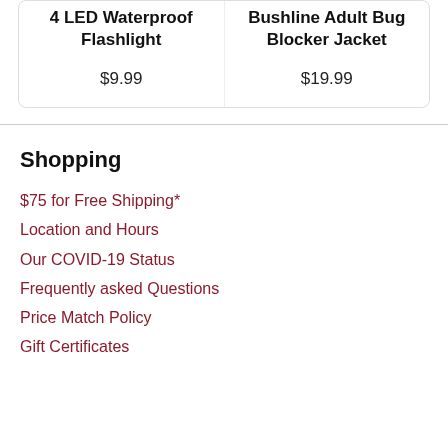| 4 LED Waterproof Flashlight | Bushline Adult Bug Blocker Jacket |
| --- | --- |
| $9.99 | $19.99 |
Shopping
$75 for Free Shipping*
Location and Hours
Our COVID-19 Status
Frequently asked Questions
Price Match Policy
Gift Certificates